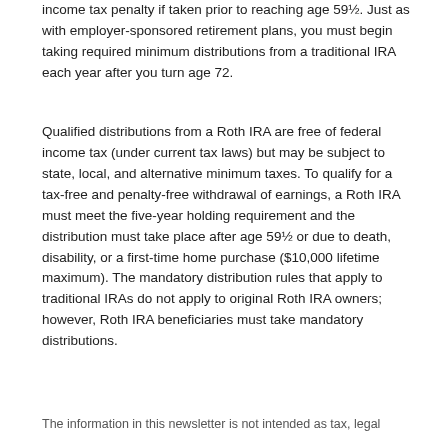income tax penalty if taken prior to reaching age 59½. Just as with employer-sponsored retirement plans, you must begin taking required minimum distributions from a traditional IRA each year after you turn age 72.
Qualified distributions from a Roth IRA are free of federal income tax (under current tax laws) but may be subject to state, local, and alternative minimum taxes. To qualify for a tax-free and penalty-free withdrawal of earnings, a Roth IRA must meet the five-year holding requirement and the distribution must take place after age 59½ or due to death, disability, or a first-time home purchase ($10,000 lifetime maximum). The mandatory distribution rules that apply to traditional IRAs do not apply to original Roth IRA owners; however, Roth IRA beneficiaries must take mandatory distributions.
The information in this newsletter is not intended as tax, legal